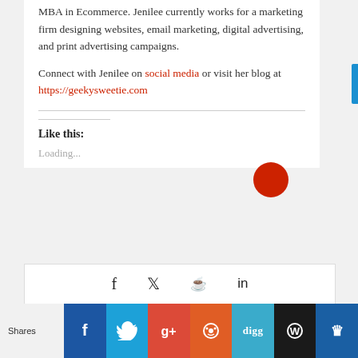MBA in Ecommerce. Jenilee currently works for a marketing firm designing websites, email marketing, digital advertising, and print advertising campaigns.
Connect with Jenilee on social media or visit her blog at https://geekysweetie.com
Like this:
Loading...
[Figure (infographic): Social share buttons bar with Facebook, Twitter, Google+, Reddit, Digg, WordPress, and another icon. Also social share icons (f, bird, pin, in) in a white box above.]